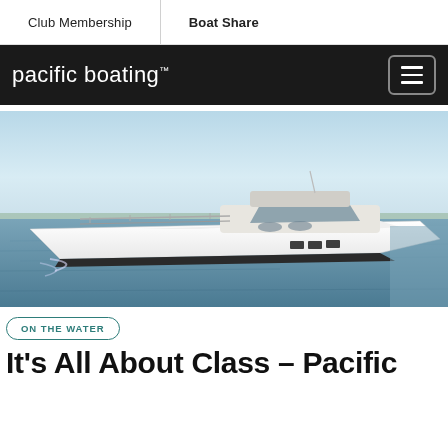Club Membership | Boat Share
pacific boating™
[Figure (photo): White luxury motorboat cruising on calm water with clear sky background]
ON THE WATER
It's All About Class – Pacific